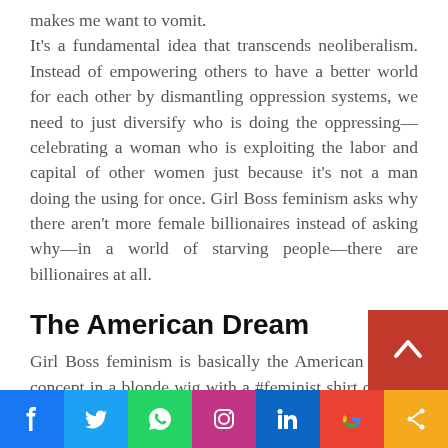makes me want to vomit.
It's a fundamental idea that transcends neoliberalism. Instead of empowering others to have a better world for each other by dismantling oppression systems, we need to just diversify who is doing the oppressing—celebrating a woman who is exploiting the labor and capital of other women just because it's not a man doing the using for once. Girl Boss feminism asks why there aren't more female billionaires instead of asking why—in a world of starving people—there are billionaires at all.
The American Dream
Girl Boss feminism is basically the American Dream concept in a blonde wig with a #feminist shirt on. Girl Boss feminism suggests that if you pull yourse...